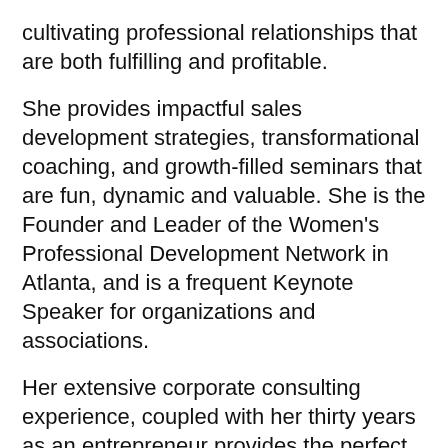cultivating professional relationships that are both fulfilling and profitable.
She provides impactful sales development strategies, transformational coaching, and growth-filled seminars that are fun, dynamic and valuable. She is the Founder and Leader of the Women's Professional Development Network in Atlanta, and is a frequent Keynote Speaker for organizations and associations.
Her extensive corporate consulting experience, coupled with her thirty years as an entrepreneur provides the perfect formula for success. She is a major connector, the Queen of Networking, and leads annual professional retreats in Italy.